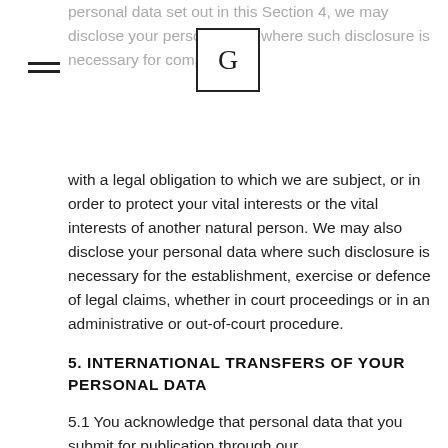[Figure (logo): Hamburger menu icon (three horizontal lines) at top left]
[Figure (logo): Letter G in a square box, website/app logo]
personal data set out in this Section 4, we may disclose your personal data where such disclosure is necessary for compliance with a legal obligation to which we are subject, or in order to protect your vital interests or the vital interests of another natural person. We may also disclose your personal data where such disclosure is necessary for the establishment, exercise or defence of legal claims, whether in court proceedings or in an administrative or out-of-court procedure.
5. INTERNATIONAL TRANSFERS OF YOUR PERSONAL DATA
5.1 You acknowledge that personal data that you submit for publication through our